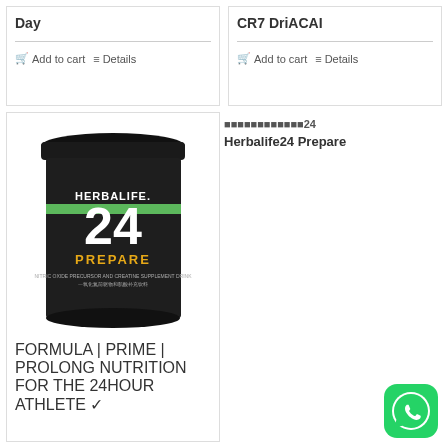Day
Add to cart
Details
CR7 DriACAI
Add to cart
Details
[Figure (photo): Black cylindrical container of Herbalife24 Prepare supplement powder]
Herbalife24 Prepare
Herbalife24 Rebuild Strength – Chocolate
Add to cart
Details